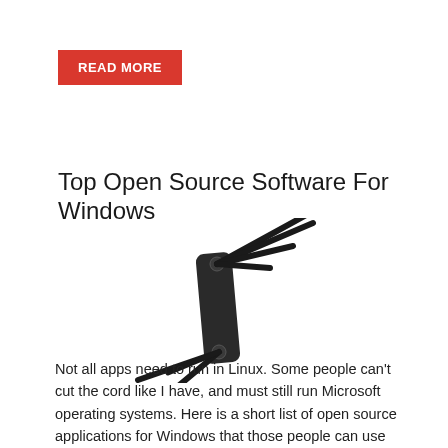READ MORE
Top Open Source Software For Windows
[Figure (photo): A folded set of hex allen key tools arranged in a fan pattern, photographed on a white background.]
Not all apps need to run in Linux. Some people can't cut the cord like I have, and must still run Microsoft operating systems. Here is a short list of open source applications for Windows that those people can use and enjoy.